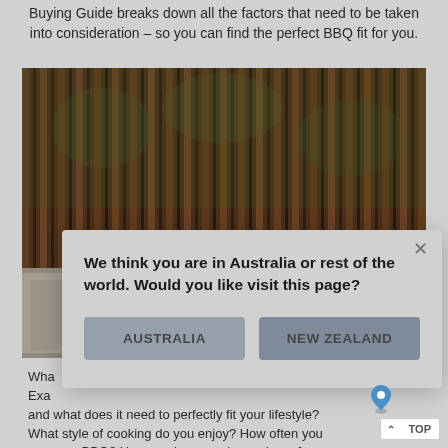Buying Guide breaks down all the factors that need to be taken into consideration – so you can find the perfect BBQ fit for you.
[Figure (photo): Outdoor kitchen with a stainless steel BBQ grill built into a concrete bench against a timber slat fence wall with green foliage behind.]
We think you are in Australia or rest of the world. Would you like visit this page?
AUSTRALIA
NEW ZEALAND
What... Exactly... and what does it need to perfectly fit your lifestyle? What style of cooking do you enjoy? How often do you use your BBQ? How much space do you have for your